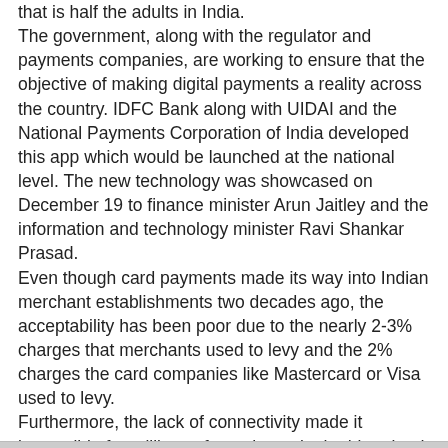that is half the adults in India. The government, along with the regulator and payments companies, are working to ensure that the objective of making digital payments a reality across the country. IDFC Bank along with UIDAI and the National Payments Corporation of India developed this app which would be launched at the national level. The new technology was showcased on December 19 to finance minister Arun Jaitley and the information and technology minister Ravi Shankar Prasad. Even though card payments made its way into Indian merchant establishments two decades ago, the acceptability has been poor due to the nearly 2-3% charges that merchants used to levy and the 2% charges the card companies like Mastercard or Visa used to levy. Furthermore, the lack of connectivity made it impossible for millions of merchants in the hinterland to adapt the card payment methods. Meanwhile, almost 109 crore of the 120 crore Indians who are registered on the Aadhar platform are expected to benefit from the new app.